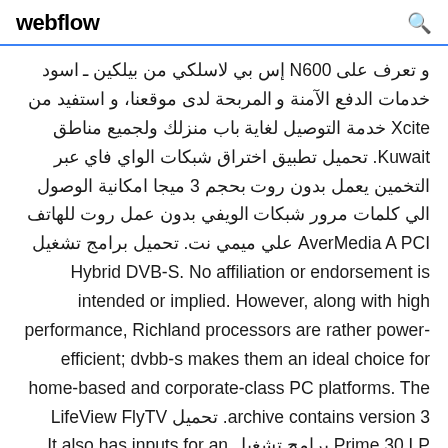webflow
و تعرف على N600 إس بي لاسلكي من بيلكين ـ اسود خدمات الدفع الآمنة و المربحة لدى موقعنا، و استفيد من Xcite خدمة التوصيل لغاية باب منزلك ولجميع مناطق Kuwait. تحميل تطبيق اختراق شبكات الواي فاي عبر التخمين يعمل بدون روت بحجم 3 ميجا امكانية الوصول الي كلمات مرور شبكات الويفي بدون عمل روت للهاتف AverMedia A PCI علي ميمي نت. تحميل برامج تشغيل Hybrid DVB-S. No affiliation or endorsement is intended or implied. However, along with high performance, Richland processors are rather power-efficient; dvbb-s makes them an ideal choice for home-based and corporate-class PC platforms. The archive contains version 3. تحميل LifeView FlyTV Prime 30 LP برامج تشغيل It also has inputs for an FM radio tuner, as well as